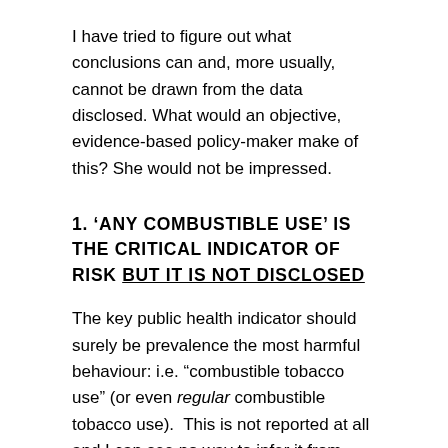I have tried to figure out what conclusions can and, more usually, cannot be drawn from the data disclosed. What would an objective, evidence-based policy-maker make of this? She would not be impressed.
1. 'ANY COMBUSTIBLE USE' IS THE CRITICAL INDICATOR OF RISK BUT IT IS NOT DISCLOSED
The key public health indicator should surely be prevalence the most harmful behaviour: i.e. "combustible tobacco use" (or even regular combustible tobacco use).  This is not reported at all and I can see no way to infer it from what is reported.  But this quantity is absolutely critical to